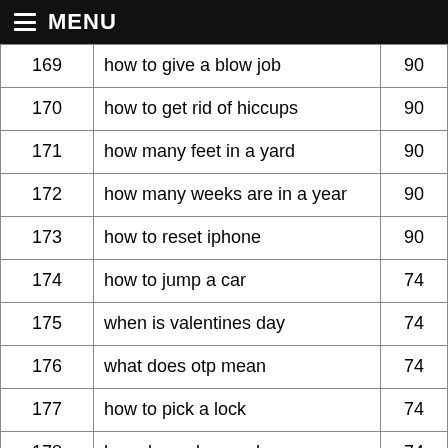MENU
| # | Query | Score |
| --- | --- | --- |
| 169 | how to give a blow job | 90 |
| 170 | how to get rid of hiccups | 90 |
| 171 | how many feet in a yard | 90 |
| 172 | how many weeks are in a year | 90 |
| 173 | how to reset iphone | 90 |
| 174 | how to jump a car | 74 |
| 175 | when is valentines day | 74 |
| 176 | what does otp mean | 74 |
| 177 | how to pick a lock | 74 |
| 178 | how does uber work | 74 |
| 179 | how to kill yourself | 74 |
| 180 | how to fall asleep fast | 74 |
| 181 | how many calories in an egg | 74 |
| 182 | how much water should you drink a day | 74 |
| 183 | … | 74 |